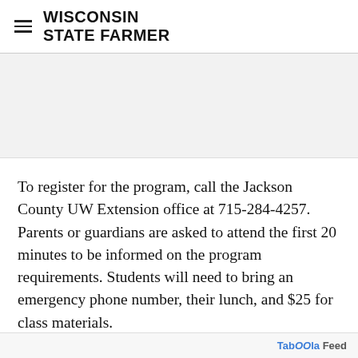WISCONSIN STATE FARMER
[Figure (other): Gray advertisement placeholder banner]
To register for the program, call the Jackson County UW Extension office at 715-284-4257. Parents or guardians are asked to attend the first 20 minutes to be informed on the program requirements. Students will need to bring an emergency phone number, their lunch, and $25 for class materials.
[Figure (other): Social share buttons: txt (green), Facebook (blue), Twitter (blue bird), Email (envelope)]
Taboola Feed